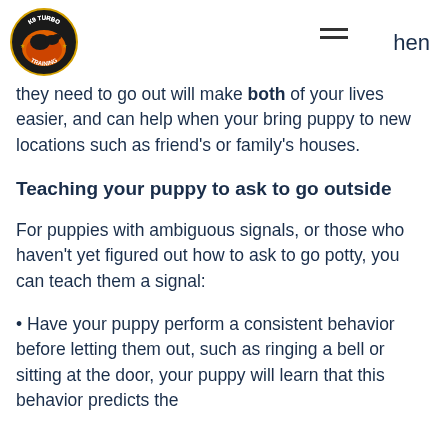K9 Turbo Training logo and navigation
they need to go out will make both of your lives easier, and can help when your bring puppy to new locations such as friend's or family's houses.
Teaching your puppy to ask to go outside
For puppies with ambiguous signals, or those who haven't yet figured out how to ask to go potty, you can teach them a signal:
• Have your puppy perform a consistent behavior before letting them out, such as ringing a bell or sitting at the door, your puppy will learn that this behavior predicts the